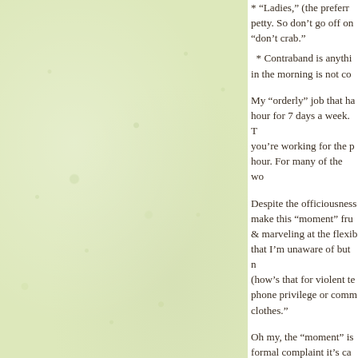* “Ladies,” (the prefer… petty. So don’t go off on… “don’t crab.”
* Contraband is anythi… in the morning is not co…
My “orderly” job that ha… hour for 7 days a week. You’re working for the p… hour. For many of the wo…
Despite the officiousness… make this “moment” fru… & marveling at the flexib… that I’m unaware of but … (how’s that for violent te… phone privilege or comm… clothes.”
Oh my, the “moment” is… formal complaint it’s ca…